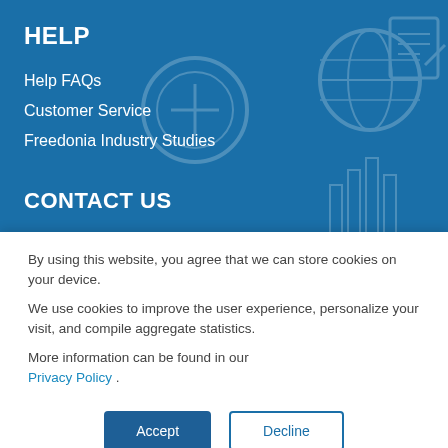HELP
Help FAQs
Customer Service
Freedonia Industry Studies
CONTACT US
Phone: 800.298.5699 (US) or +1.240.747.3093 (Int'l)
By using this website, you agree that we can store cookies on your device.
We use cookies to improve the user experience, personalize your visit, and compile aggregate statistics.
More information can be found in our Privacy Policy .